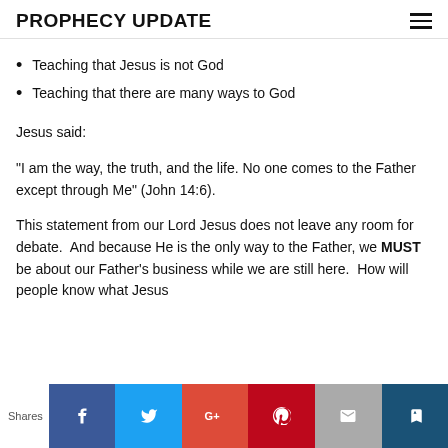PROPHECY UPDATE
Teaching that Jesus is not God
Teaching that there are many ways to God
Jesus said:
"I am the way, the truth, and the life. No one comes to the Father except through Me" (John 14:6).
This statement from our Lord Jesus does not leave any room for debate.  And because He is the only way to the Father, we MUST be about our Father's business while we are still here.  How will people know what Jesus
Shares | Facebook | Twitter | Google+ | Pinterest | Email | Bookmark